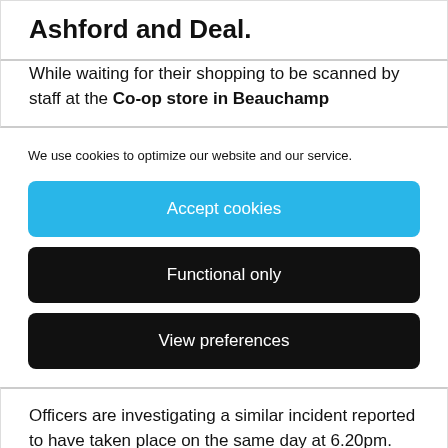Ashford and Deal.
While waiting for their shopping to be scanned by staff at the Co-op store in Beauchamp
We use cookies to optimize our website and our service.
Accept cookies
Functional only
View preferences
Officers are investigating a similar incident reported to have taken place on the same day at 6.20pm. Two men asked for multiple packets of tobacco from the counter in the Co-op store